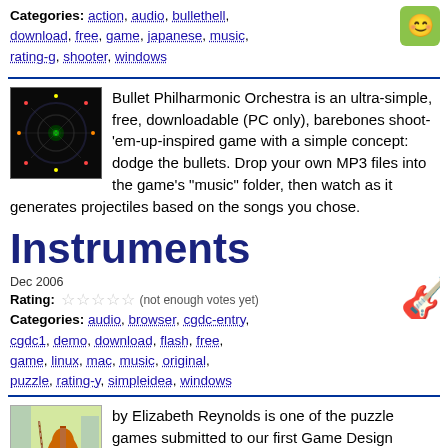Categories: action, audio, bullethell, download, free, game, japanese, music, rating-g, shooter, windows
[Figure (screenshot): Thumbnail screenshot of Bullet Philharmonic Orchestra game showing dark circular bullet pattern]
Bullet Philharmonic Orchestra is an ultra-simple, free, downloadable (PC only), barebones shoot-'em-up-inspired game with a simple concept: dodge the bullets. Drop your own MP3 files into the game's "music" folder, then watch as it generates projectiles based on the songs you chose.
Instruments
Dec 2006
Rating: (not enough votes yet)
Categories: audio, browser, cgdc-entry, cgdc1, demo, download, flash, free, game, linux, mac, music, original, puzzle, rating-y, simpleidea, windows
[Figure (screenshot): Thumbnail image of Instruments game showing a cello/violin on colorful background]
by Elizabeth Reynolds is one of the puzzle games submitted to our first Game Design Competition. Four instruments sit silently on the right side of the screen, each in a different colored chair. Using the corresponding